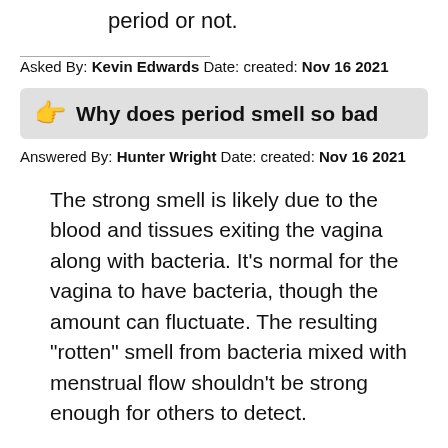period or not.
Asked By: Kevin Edwards Date: created: Nov 16 2021
Why does period smell so bad
Answered By: Hunter Wright Date: created: Nov 16 2021
The strong smell is likely due to the blood and tissues exiting the vagina along with bacteria. It’s normal for the vagina to have bacteria, though the amount can fluctuate. The resulting “rotten” smell from bacteria mixed with menstrual flow shouldn’t be strong enough for others to detect.